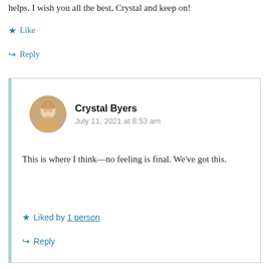helps. I wish you all the best, Crystal and keep on!
★ Like
↪ Reply
Crystal Byers
July 11, 2021 at 8:53 am
This is where I think—no feeling is final. We've got this.
★ Liked by 1 person
↪ Reply